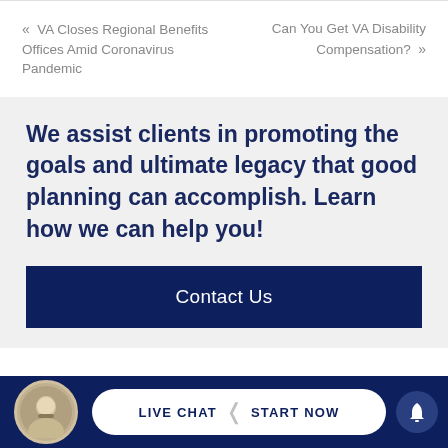« VA Closes Regional Benefits Offices Amid Coronavirus Pandemic
Can You Get VA Disability Compensation? »
We assist clients in promoting the goals and ultimate legacy that good planning can accomplish. Learn how we can help you!
Contact Us
LIVE CHAT  START NOW